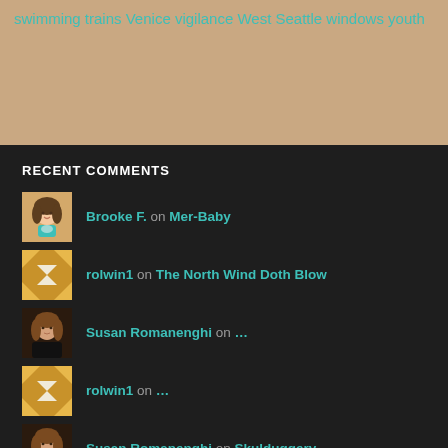swimming trains Venice vigilance West Seattle windows youth
RECENT COMMENTS
Brooke F. on Mer-Baby
rolwin1 on The North Wind Doth Blow
Susan Romanenghi on …
rolwin1 on …
Susan Romanenghi on Skulduggery